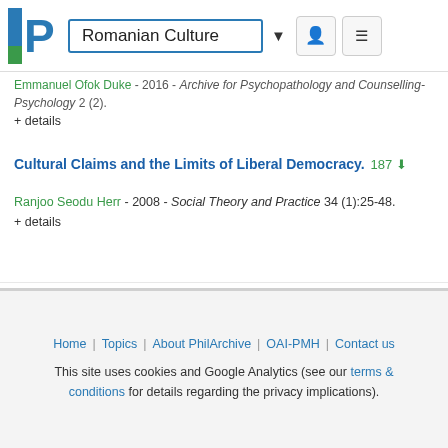Romanian Culture
Emmanuel Ofok Dube - 2016 - Archive for Psychopathology and Counselling-Psychology 2 (2).
+ details
Cultural Claims and the Limits of Liberal Democracy.
Ranjoo Seodu Herr - 2008 - Social Theory and Practice 34 (1):25-48.
+ details
1 — 50 / 998
Home | Topics | About PhilArchive | OAI-PMH | Contact us
This site uses cookies and Google Analytics (see our terms & conditions for details regarding the privacy implications).